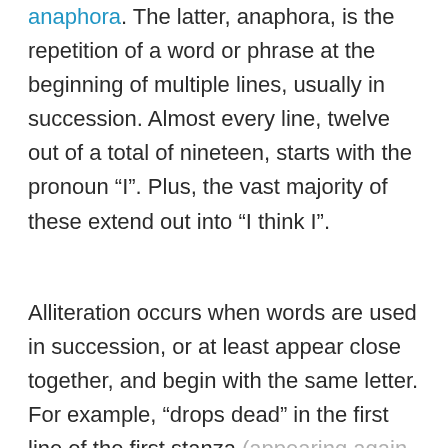anaphora. The latter, anaphora, is the repetition of a word or phrase at the beginning of multiple lines, usually in succession. Almost every line, twelve out of a total of nineteen, starts with the pronoun “I”. Plus, the vast majority of these extend out into “I think I”.
Alliteration occurs when words are used in succession, or at least appear close together, and begin with the same letter. For example, “drops dead” in the first line of the first stanza (appearing again at the end of four other lines) or “fires fade” in line one of